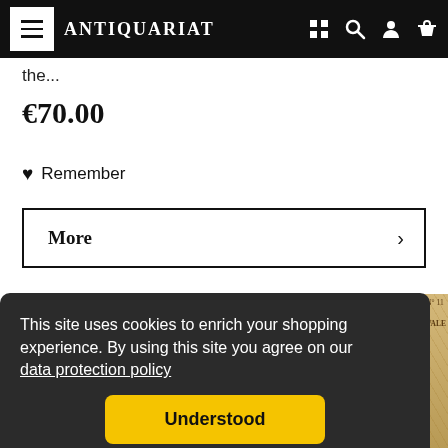Antiquariat
the...
€70.00
♥ Remember
More ›
This site uses cookies to enrich your shopping experience. By using this site you agree on our data protection policy
Understood